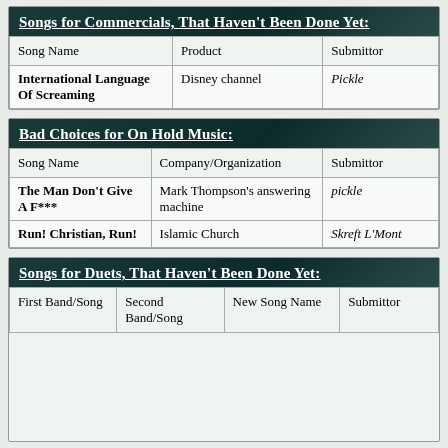Songs for Commercials, That Haven't Been Done Yet:
| Song Name | Product | Submittor |
| --- | --- | --- |
| International Language Of Screaming | Disney channel | Pickle |
Bad Choices for On Hold Music:
| Song Name | Company/Organization | Submittor |
| --- | --- | --- |
| The Man Don't Give A F*** | Mark Thompson's answering machine | pickle |
| Run! Christian, Run! | Islamic Church | Skreft L'Mont |
Songs for Duets, That Haven't Been Done Yet:
| First Band/Song | Second Band/Song | New Song Name | Submittor |
| --- | --- | --- | --- |